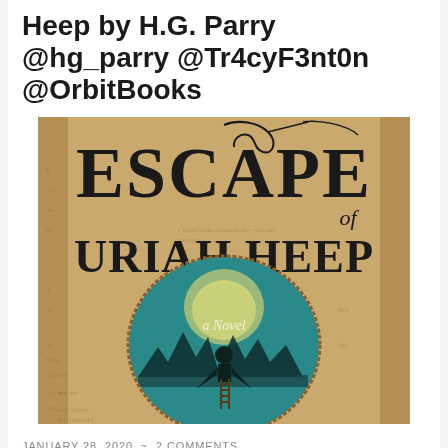Heep by H.G. Parry @hg_parry @Tr4cyF3nt0n @OrbitBooks
[Figure (photo): Book cover of 'Escape of Uriah Heep: A Novel' showing a silhouetted figure standing on a ladder against a teal moonlit circular vignette, set against an aged parchment background with text]
JANUARY 28, 2020 ~ 2 COMMENTS